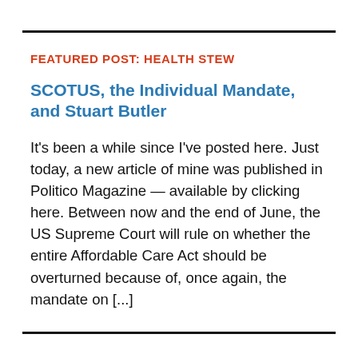FEATURED POST: HEALTH STEW
SCOTUS, the Individual Mandate, and Stuart Butler
It's been a while since I've posted here. Just today, a new article of mine was published in Politico Magazine — available by clicking here. Between now and the end of June, the US Supreme Court will rule on whether the entire Affordable Care Act should be overturned because of, once again, the mandate on [...]